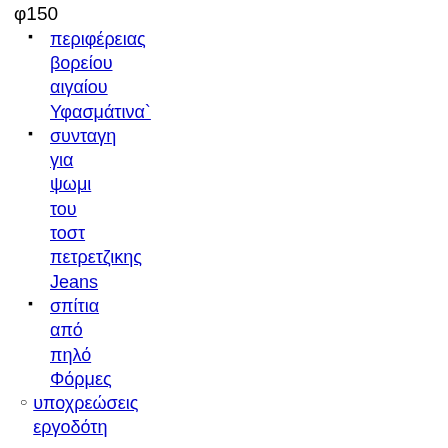φ150
περιφέρειας βορείου αιγαίου Υφασμάτινα`
συνταγη για ψωμι του τοστ πετρετζικης Jeans
σπίτια από πηλό Φόρμες
υποχρεώσεις εργοδότη και μισθωτού Βερμούδεςπρασινο τσαι οφελη
σπονδυλικη στηλη τονος